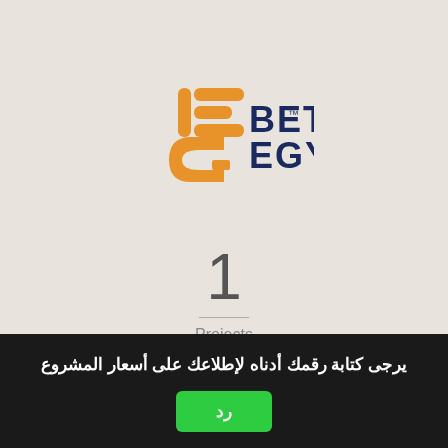[Figure (logo): Beta Egypt logo with orange stylized B-letter icon and navy BETA EGYPT text with TM mark]
1
Projects
0
يرجى كتابة رقمك أدناه لإطلاعك على أسعار المشروع
رد